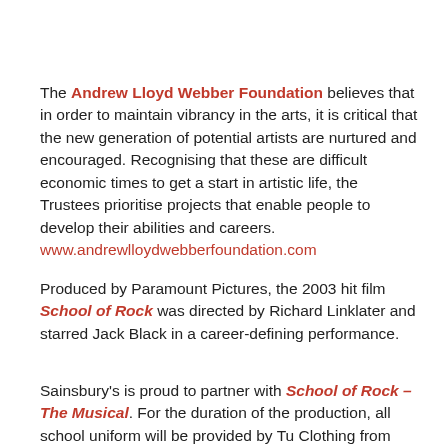The Andrew Lloyd Webber Foundation believes that in order to maintain vibrancy in the arts, it is critical that the new generation of potential artists are nurtured and encouraged. Recognising that these are difficult economic times to get a start in artistic life, the Trustees prioritise projects that enable people to develop their abilities and careers. www.andrewlloydwebberfoundation.com
Produced by Paramount Pictures, the 2003 hit film School of Rock was directed by Richard Linklater and starred Jack Black in a career-defining performance.
Sainsbury's is proud to partner with School of Rock – The Musical. For the duration of the production, all school uniform will be provided by Tu Clothing from Sainsbury's. Featuring